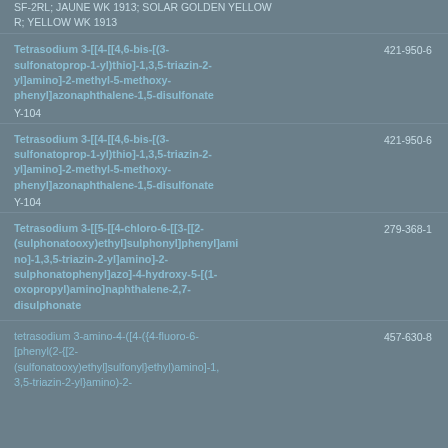SF-2RL; JAUNE WK 1913; SOLAR GOLDEN YELLOW R; YELLOW WK 1913
Tetrasodium 3-[[4-[[4,6-bis-[(3-sulfonatoprop-1-yl)thio]-1,3,5-triazin-2-yl]amino]-2-methyl-5-methoxy-phenyl]azonaphthalene-1,5-disulfonate
Y-104
421-950-6
187674-70-0
Tetrasodium 3-[[4-[[4,6-bis-[(3-sulfonatoprop-1-yl)thio]-1,3,5-triazin-2-yl]amino]-2-methyl-5-methoxy-phenyl]azonaphthalene-1,5-disulfonate
Y-104
421-950-6
187674-70-0
Tetrasodium 3-[[5-[[4-chloro-6-[[3-[[2-(sulphonatooxy)ethyl]sulphonyl]phenyl]amino]-1,3,5-triazin-2-yl]amino]-2-sulphonatophenyl]azo]-4-hydroxy-5-[(1-oxopropyl)amino]naphthalene-2,7-disulphonate
279-368-1
80019-42-7
tetrasodium 3-amino-4-([4-({4-fluoro-6-[phenyl(2-{[2-(sulfonatooxy)ethyl]sulfonyl}ethyl)amino]-1,3,5-triazin-2-yl}amino)-2-
457-630-8
2138836-26-5